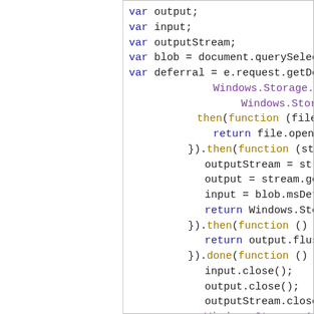[Figure (screenshot): Syntax-highlighted JavaScript/WinJS code snippet showing variable declarations and promise chain using Windows.Storage APIs. Variables: output, input, outputStream, blob, deferral. Promise chain with .then() and .done() callbacks including file operations, stream assignments, and close calls.]